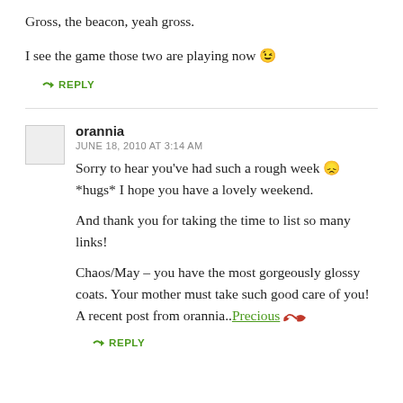Gross, the beacon, yeah gross.
I see the game those two are playing now 😉
↳ REPLY
orannia
JUNE 18, 2010 AT 3:14 AM
Sorry to hear you've had such a rough week 🙁 *hugs* I hope you have a lovely weekend.
And thank you for taking the time to list so many links!
Chaos/May – you have the most gorgeously glossy coats. Your mother must take such good care of you!
A recent post from orannia..Precious
↳ REPLY